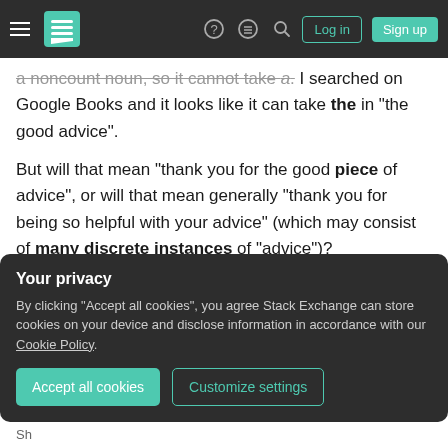Stack Exchange navigation bar with Log in and Sign up buttons
a noncount noun, so it cannot take a. I searched on Google Books and it looks like it can take the in "the good advice".
But will that mean "thank you for the good piece of advice", or will that mean generally "thank you for being so helpful with your advice" (which may consist of many discrete instances of "advice")?
Let me explain my request with an example: what if during the conversation several different pieces of advice were given, on wildly different matters?
Your privacy
By clicking "Accept all cookies", you agree Stack Exchange can store cookies on your device and disclose information in accordance with our Cookie Policy.
Accept all cookies | Customize settings